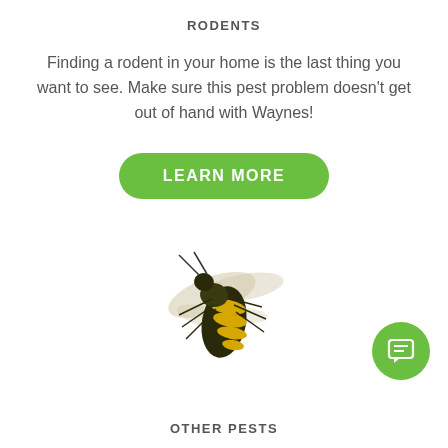RODENTS
Finding a rodent in your home is the last thing you want to see. Make sure this pest problem doesn't get out of hand with Waynes!
[Figure (other): Green rounded button with white text reading LEARN MORE]
[Figure (photo): A yellow and black wasp (yellowjacket) photographed from above on a white background]
[Figure (other): Green circular chat/message button icon in the bottom right corner]
OTHER PESTS